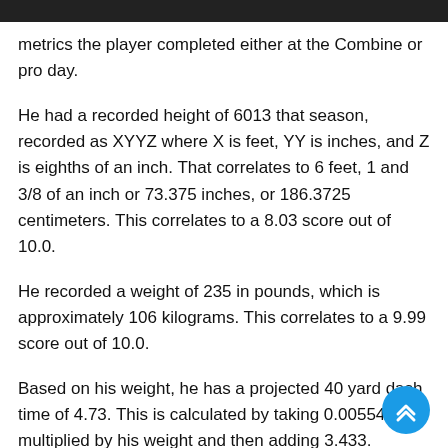metrics the player completed either at the Combine or pro day.
He had a recorded height of 6013 that season, recorded as XYYZ where X is feet, YY is inches, and Z is eighths of an inch. That correlates to 6 feet, 1 and 3/8 of an inch or 73.375 inches, or 186.3725 centimeters. This correlates to a 8.03 score out of 10.0.
He recorded a weight of 235 in pounds, which is approximately 106 kilograms. This correlates to a 9.99 score out of 10.0.
Based on his weight, he has a projected 40 yard dash time of 4.73. This is calculated by taking 0.00554 multiplied by his weight and then adding 3.433.